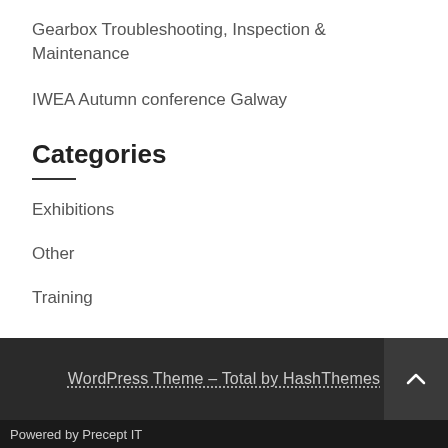Gearbox Troubleshooting, Inspection & Maintenance
IWEA Autumn conference Galway
Categories
Exhibitions
Other
Training
WordPress Theme - Total by HashThemes
Powered by Precept IT